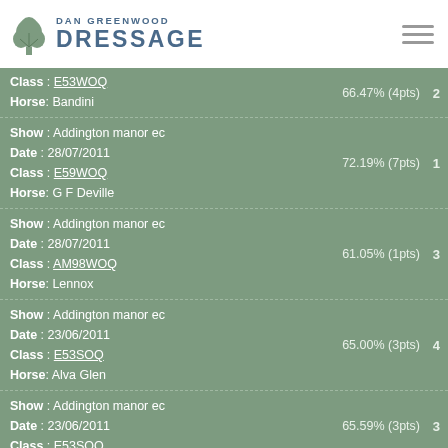DAN GREENWOOD DRESSAGE
Class: E53WOQ | Horse: Bandini | 66.47% (4pts) | Place: 2
Show: Addington manor ec | Date: 28/07/2011 | Class: E59WOQ | Horse: G F Deville | 72.19% (7pts) | Place: 1
Show: Addington manor ec | Date: 28/07/2011 | Class: AM98WOQ | Horse: Lennox | 61.05% (1pts) | Place: 3
Show: Addington manor ec | Date: 23/06/2011 | Class: E53SOQ | Horse: Alva Glen | 65.00% (3pts) | Place: 4
Show: Addington manor ec | Date: 23/06/2011 | Class: E53SOQ | 65.59% (3pts) | Place: 3